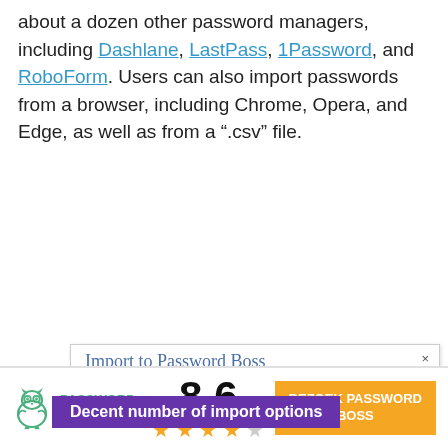about a dozen other password managers, including Dashlane, LastPass, 1Password, and RoboForm. Users can also import passwords from a browser, including Chrome, Opera, and Edge, as well as from a “.csv” file.
[Figure (screenshot): Screenshot of 'Import to Password Boss' dialog showing a dropdown list with options: Lastpass, csv, Dashlane, Keepass, Lastpass (highlighted), Password Boss JSON - not encrypted, PasswordBoss encrypted export, Roboform, SplashID. An annotation banner reads 'Decent number of import options' in white text on purple background.]
[Figure (logo): Password Boss logo with owl icon in green, text 'PASSWORD BOSS', score 8.6, four and a half gold stars, and orange CTA button 'BEZOEK PASSWORD BOSS']